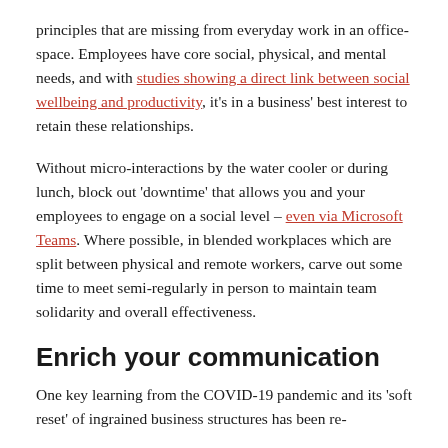principles that are missing from everyday work in an office-space. Employees have core social, physical, and mental needs, and with studies showing a direct link between social wellbeing and productivity, it's in a business' best interest to retain these relationships.
Without micro-interactions by the water cooler or during lunch, block out 'downtime' that allows you and your employees to engage on a social level – even via Microsoft Teams. Where possible, in blended workplaces which are split between physical and remote workers, carve out some time to meet semi-regularly in person to maintain team solidarity and overall effectiveness.
Enrich your communication
One key learning from the COVID-19 pandemic and its 'soft reset' of ingrained business structures has been re-